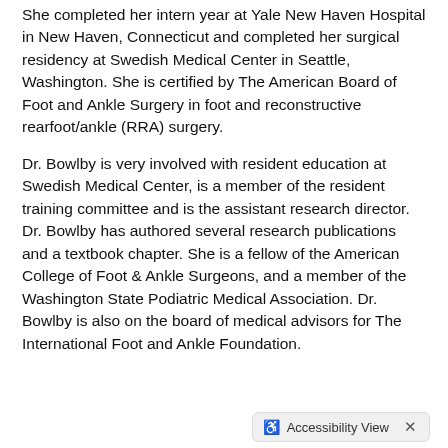She completed her intern year at Yale New Haven Hospital in New Haven, Connecticut and completed her surgical residency at Swedish Medical Center in Seattle, Washington. She is certified by The American Board of Foot and Ankle Surgery in foot and reconstructive rearfoot/ankle (RRA) surgery.
Dr. Bowlby is very involved with resident education at Swedish Medical Center, is a member of the resident training committee and is the assistant research director. Dr. Bowlby has authored several research publications and a textbook chapter. She is a fellow of the American College of Foot & Ankle Surgeons, and a member of the Washington State Podiatric Medical Association. Dr. Bowlby is also on the board of medical advisors for The International Foot and Ankle Foundation.